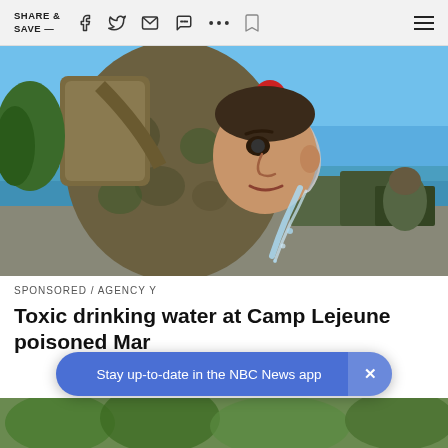SHARE & SAVE —
[Figure (photo): A soldier in camouflage uniform bending down to drink water from a hose outdoors, with military equipment and water visible in the background near a waterfront.]
SPONSORED / AGENCY Y
Toxic drinking water at Camp Lejeune poisoned Mar...
Stay up-to-date in the NBC News app